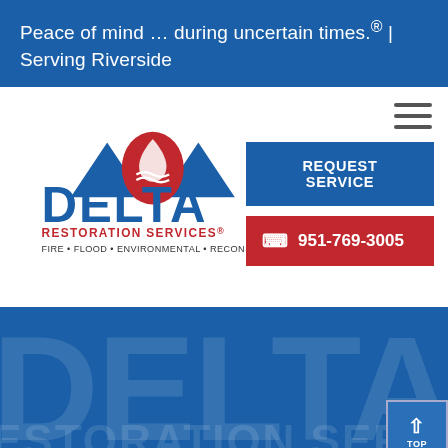Peace of mind … during uncertain times.® | Serving Riverside
[Figure (logo): Delta Restoration Services logo with blue triangles, red flame/water drop icon, DELTA text in blue, RESTORATION SERVICES in red, and tagline FIRE • FLOOD • ENVIRONMENTAL • RECONSTRUCTION]
REQUEST SERVICE
951-769-3005
[Figure (logo): Delta Restoration Services large watermark text in dark blue on blue background, showing DELTA and RESTORATION SERVICES in large semi-transparent letters]